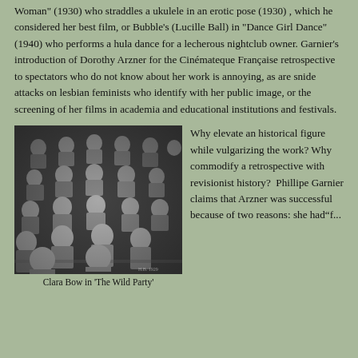Woman" (1930) who straddles a ukulele in an erotic pose (1930) , which he considered her best film, or Bubble's (Lucille Ball) in "Dance Girl Dance" (1940) who performs a hula dance for a lecherous nightclub owner. Garnier's introduction of Dorothy Arzner for the Cinémateque Française retrospective to spectators who do not know about her work is annoying, as are snide attacks on lesbian feminists who identify with her public image, or the screening of her films in academia and educational institutions and festivals.
[Figure (photo): Black and white photograph of many women sitting at school desks in a classroom setting, appearing to be a scene from a vintage film.]
Clara Bow in 'The Wild Party'
Why elevate an historical figure while vulgarizing the work? Why commodify a retrospective with revisionist history?  Phillipe Garnier claims that Arzner was successful because of two reasons: she had"f...